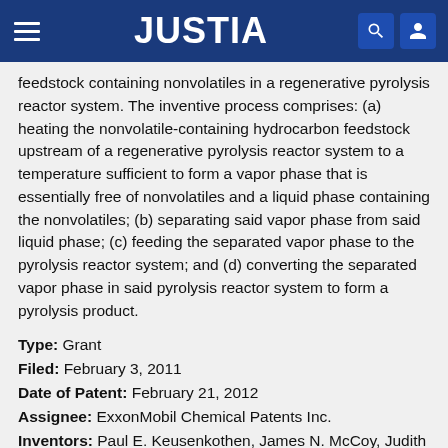JUSTIA
feedstock containing nonvolatiles in a regenerative pyrolysis reactor system. The inventive process comprises: (a) heating the nonvolatile-containing hydrocarbon feedstock upstream of a regenerative pyrolysis reactor system to a temperature sufficient to form a vapor phase that is essentially free of nonvolatiles and a liquid phase containing the nonvolatiles; (b) separating said vapor phase from said liquid phase; (c) feeding the separated vapor phase to the pyrolysis reactor system; and (d) converting the separated vapor phase in said pyrolysis reactor system to form a pyrolysis product.
Type: Grant
Filed: February 3, 2011
Date of Patent: February 21, 2012
Assignee: ExxonMobil Chemical Patents Inc.
Inventors: Paul E. Keusenkothen, James N. McCoy, Judith